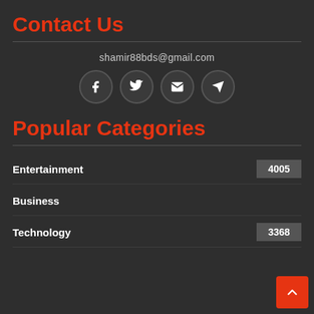Contact Us
shamir88bds@gmail.com
[Figure (infographic): Four social media icon circles: Facebook, Twitter, Email, Telegram]
Popular Categories
Entertainment 4005
Business 3368
Technology 3368